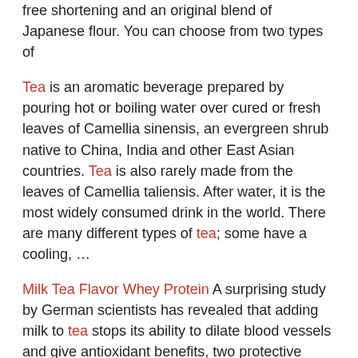free shortening and an original blend of Japanese flour. You can choose from two types of
Tea is an aromatic beverage prepared by pouring hot or boiling water over cured or fresh leaves of Camellia sinensis, an evergreen shrub native to China, India and other East Asian countries. Tea is also rarely made from the leaves of Camellia taliensis. After water, it is the most widely consumed drink in the world. There are many different types of tea; some have a cooling, …
Milk Tea Flavor Whey Protein A surprising study by German scientists has revealed that adding milk to tea stops its ability to dilate blood vessels and give antioxidant benefits, two protective factors for a healthy… A surprising study by German scientists has reveal… Whether you're looking to build lean muscle or enjoy a nutritious snack, our guide to the best
The UK Tea & Infusions Association (UKTIA) says 84% of the UK population drinks tea every day, so there's no